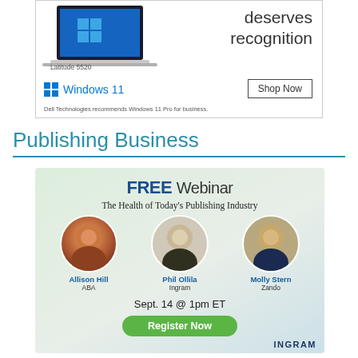[Figure (illustration): Dell Latitude 5520 laptop advertisement with Windows 11 logo and Shop Now button. Text: 'deserves recognition', 'Dell Technologies recommends Windows 11 Pro for business.']
Publishing Business
[Figure (infographic): FREE Webinar advertisement: 'The Health of Today's Publishing Industry'. Speakers: Allison Hill (ABA), Phil Ollila (Ingram), Molly Stern (Zando). Sept. 14 @ 1pm ET. Register Now button. Ingram logo.]